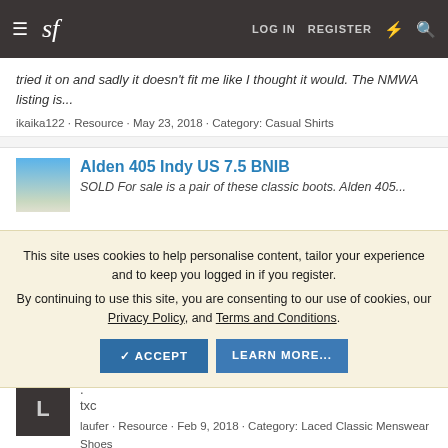sf  LOG IN  REGISTER
tried it on and sadly it doesn't fit me like I thought it would. The NMWA listing is...
ikaika122 · Resource · May 23, 2018 · Category: Casual Shirts
Alden 405 Indy US 7.5 BNIB
SOLD For sale is a pair of these classic boots. Alden 405...
This site uses cookies to help personalise content, tailor your experience and to keep you logged in if you register.
By continuing to use this site, you are consenting to our use of cookies, our Privacy Policy, and Terms and Conditions.
✓ ACCEPT   LEARN MORE...
.
txc
laufer · Resource · Feb 9, 2018 · Category: Laced Classic Menswear Shoes